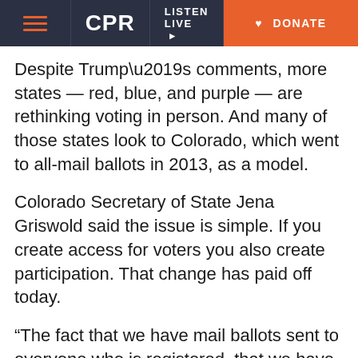CPR | LISTEN LIVE | DONATE
Despite Trump’s comments, more states — red, blue, and purple — are rethinking voting in person. And many of those states look to Colorado, which went to all-mail ballots in 2013, as a model.
Colorado Secretary of State Jena Griswold said the issue is simple. If you create access for voters you also create participation. That change has paid off today.
“The fact that we have mail ballots sent to everyone who is registered, that we have mail ballots sent to everyone who is registered, that we have early voting and in-person voting really enables us to observe social distancing in an unprecedented